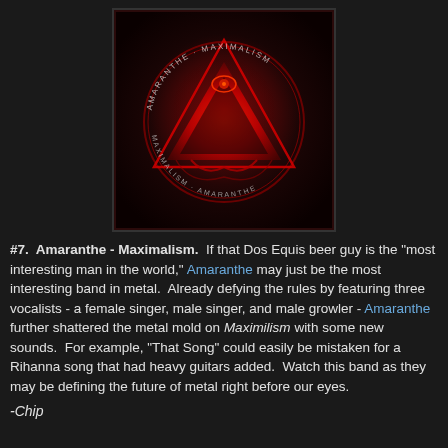[Figure (photo): Album cover for Amaranthe - Maximalism. Dark red background with a glowing red triangle/pyramid symbol inside a circular emblem. Text around the circle reads 'AMARANTHE MAXIMALISM'.]
#7.  Amaranthe - Maximalism.  If that Dos Equis beer guy is the "most interesting man in the world," Amaranthe may just be the most interesting band in metal.  Already defying the rules by featuring three vocalists - a female singer, male singer, and male growler - Amaranthe further shattered the metal mold on Maximilism with some new sounds.  For example, "That Song" could easily be mistaken for a Rihanna song that had heavy guitars added.  Watch this band as they may be defining the future of metal right before our eyes.
-Chip